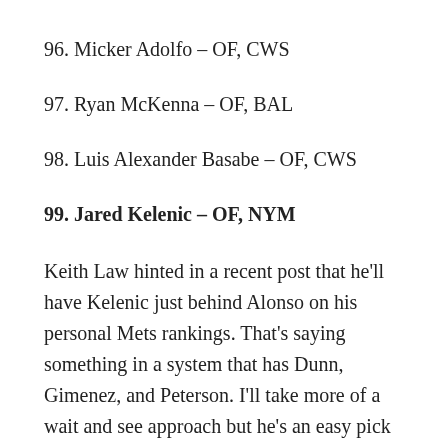96. Micker Adolfo – OF, CWS
97. Ryan McKenna – OF, BAL
98. Luis Alexander Basabe – OF, CWS
99. Jared Kelenic – OF, NYM
Keith Law hinted in a recent post that he'll have Kelenic just behind Alonso on his personal Mets rankings. That's saying something in a system that has Dunn, Gimenez, and Peterson. I'll take more of a wait and see approach but he's an easy pick for someone likely to rise through the...